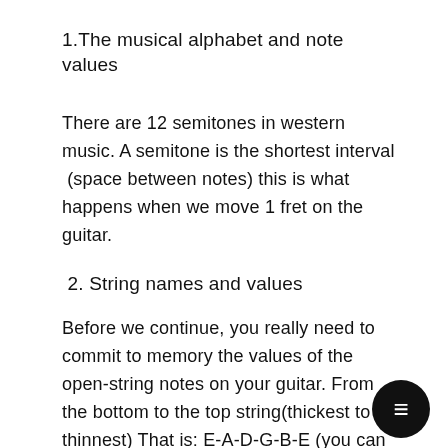1.The musical alphabet and note values
There are 12 semitones in western music. A semitone is the shortest interval  (space between notes) this is what happens when we move 1 fret on the guitar.
2. String names and values
Before we continue, you really need to commit to memory the values of the open-string notes on your guitar. From the bottom to the top string(thickest to thinnest) That is: E-A-D-G-B-E (you can remember this by saying Elephants And Donkeys Grow Big Ears) can be represented as note values: 7-0-5-
7